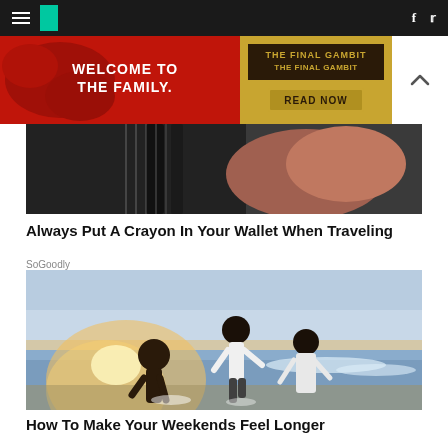HuffPost navigation bar with hamburger menu, logo, Facebook and Twitter icons
[Figure (photo): Advertisement banner: red background with 'WELCOME TO THE FAMILY.' text on left in white, right side shows 'THE FINAL GAMBIT' in dark text on gold/yellow background with 'READ NOW' button]
[Figure (photo): Partial close-up photograph showing a dark instrument or object, appears to be a guitar neck or similar, with a hand visible]
Always Put A Crayon In Your Wallet When Traveling
SoGoodly
[Figure (photo): Three young women dancing and jumping joyfully on a beach at sunset/golden hour, waves in background, backlit by warm sunlight]
How To Make Your Weekends Feel Longer